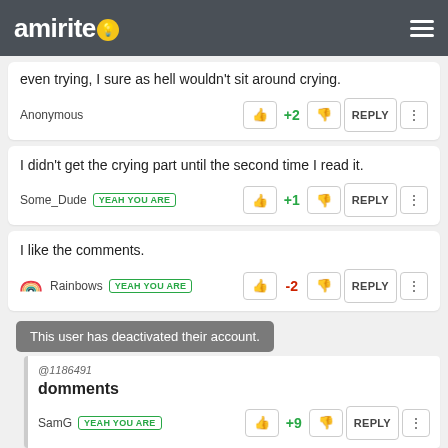amirite
even trying, I sure as hell wouldn't sit around crying.
Anonymous   +2   REPLY
I didn't get the crying part until the second time I read it.
Some_Dude  YEAH YOU ARE   +1   REPLY
I like the comments.
Rainbows  YEAH YOU ARE   -2   REPLY
This user has deactivated their account.
@1186491
domments
SamG  YEAH YOU ARE   +9   REPLY
@1186491
nothing actually rhymes with comment, and half...